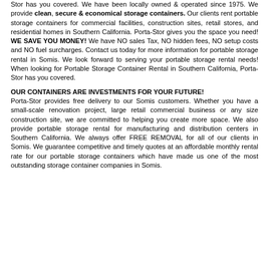Stor has you covered. We have been locally owned & operated since 1975. We provide clean, secure & economical storage containers. Our clients rent portable storage containers for commercial facilities, construction sites, retail stores, and residential homes in Southern California. Porta-Stor gives you the space you need! WE SAVE YOU MONEY! We have NO sales Tax, NO hidden fees, NO setup costs and NO fuel surcharges. Contact us today for more information for portable storage rental in Somis. We look forward to serving your portable storage rental needs! When looking for Portable Storage Container Rental in Southern California, Porta-Stor has you covered.
OUR CONTAINERS ARE INVESTMENTS FOR YOUR FUTURE!
Porta-Stor provides free delivery to our Somis customers. Whether you have a small-scale renovation project, large retail commercial business or any size construction site, we are committed to helping you create more space. We also provide portable storage rental for manufacturing and distribution centers in Southern California. We always offer FREE REMOVAL for all of our clients in Somis. We guarantee competitive and timely quotes at an affordable monthly rental rate for our portable storage containers which have made us one of the most outstanding storage container companies in Somis.